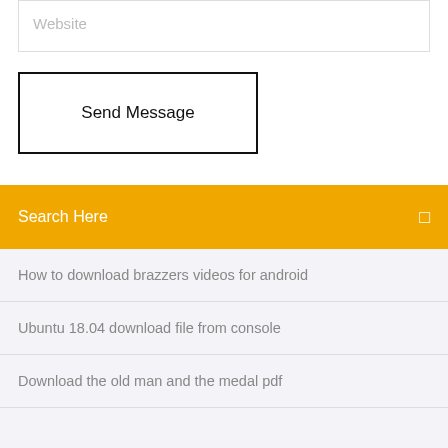Website
Send Message
Search Here
How to download brazzers videos for android
Ubuntu 18.04 download file from console
Download the old man and the medal pdf